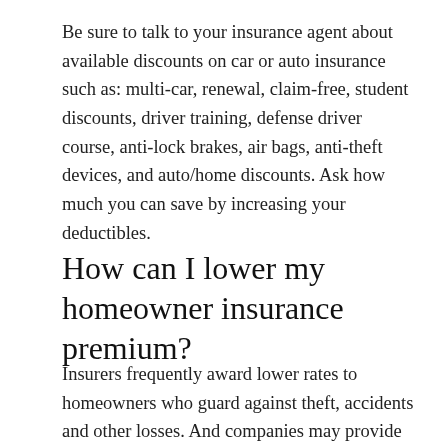Be sure to talk to your insurance agent about available discounts on car or auto insurance such as: multi-car, renewal, claim-free, student discounts, driver training, defense driver course, anti-lock brakes, air bags, anti-theft devices, and auto/home discounts. Ask how much you can save by increasing your deductibles.
How can I lower my homeowner insurance premium?
Insurers frequently award lower rates to homeowners who guard against theft, accidents and other losses. And companies may provide discounts to owners of certain kinds of...